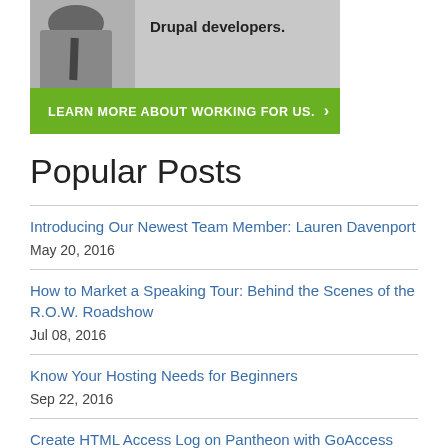[Figure (photo): Banner advertisement with a man in a suit and tie, text 'Drupal developers.' and a green button 'LEARN MORE ABOUT WORKING FOR US. ›']
Popular Posts
Introducing Our Newest Team Member: Lauren Davenport
May 20, 2016
How to Market a Speaking Tour: Behind the Scenes of the R.O.W. Roadshow
Jul 08, 2016
Know Your Hosting Needs for Beginners
Sep 22, 2016
Create HTML Access Log on Pantheon with GoAccess
Dec 27, 2016